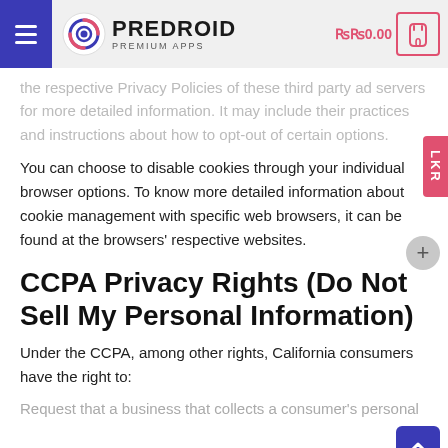PREDROID PREMIUM APPS — ₨0.00 cart
the respective Privacy Policies of these third party ad servers for more detailed information. It may include their practices and instructions about how to opt-out of certain options.
You can choose to disable cookies through your individual browser options. To know more detailed information about cookie management with specific web browsers, it can be found at the browsers' respective websites.
CCPA Privacy Rights (Do Not Sell My Personal Information)
Under the CCPA, among other rights, California consumers have the right to:
Request that a business that collects a consumer's personal